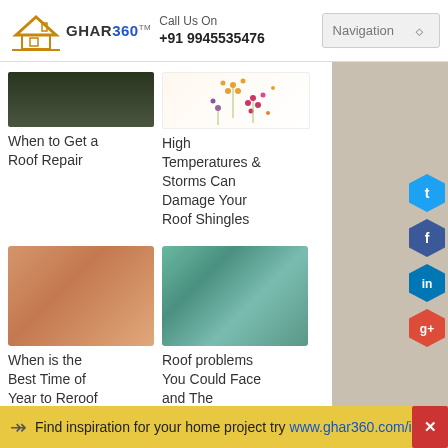GHAR 360 TM — Call Us On +91 9945535476 — Navigation
[Figure (photo): Dark foliage thumbnail image (partially visible, cropped top)]
[Figure (illustration): White background with colorful flower dot illustrations (orange, pink, purple)]
When to Get a Roof Repair
High Temperatures & Storms Can Damage Your Roof Shingles
[Figure (photo): Copper/orange metallic gradient surface photo]
[Figure (photo): Teal/green textured surface photo (possibly weathered metal or moss)]
When is the Best Time of Year to Reroof Your House?
Roof problems You Could Face and The Ultimate
[Figure (infographic): Social media icons: Twitter (blue hexagon), Facebook (dark blue hexagon), LinkedIn (blue hexagon), Google+ (red hexagon)]
Find inspiration for your home project try www.ghar360.com/id… ✕